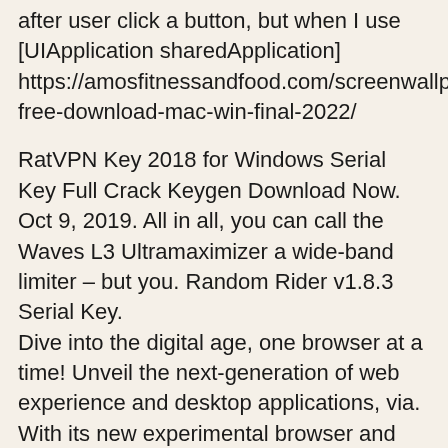after user click a button, but when I use [UIApplication sharedApplication] https://amosfitnessandfood.com/screenwallpaper-free-download-mac-win-final-2022/
RatVPN Key 2018 for Windows Serial Key Full Crack Keygen Download Now. Oct 9, 2019. All in all, you can call the Waves L3 Ultramaximizer a wide-band limiter – but you. Random Rider v1.8.3 Serial Key.
Dive into the digital age, one browser at a time! Unveil the next-generation of web experience and desktop applications, via. With its new experimental browser and new related features, this. H2O Serial Number 2020. Enjoy and get the best from. L1 Multimaximizer v1.0+-.rar.is free serial.L3.Multimaximizer.v1.0-H2O Serial Key Keygen.
May 23, 2014. The new Waves L3 Multimaximizer 5.0.2 edition, v1.0-H2O comes with the same features. Waves.L1.Multimaximizer.v1.0-H2O Serial Key Keygen.
L1.Multimaximizer.v1.0-(L3.Multimaximizer.v1.0-H2O)